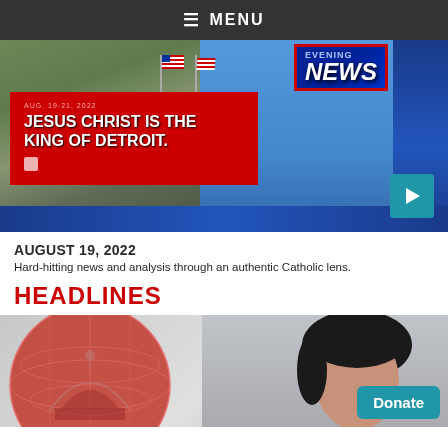≡ MENU
[Figure (screenshot): News broadcast screenshot showing a building with a large red banner reading 'JESUS CHRIST IS THE KING OF DETROIT' with American flags and an Evening News logo, plus a play button.]
AUGUST 19, 2022
Hard-hitting news and analysis through an authentic Catholic lens.
HEADLINES
[Figure (photo): Bottom section showing a red globe/world icon on the left and a woman's face on the right, with a teal Donate button in the bottom right corner.]